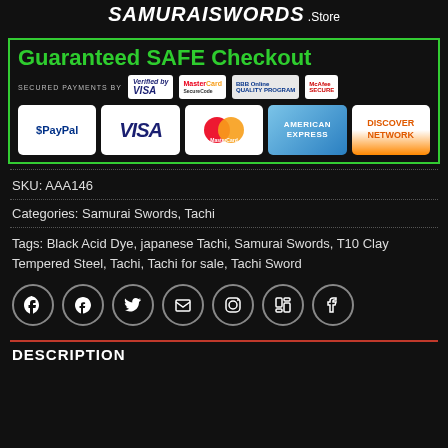SamuraiSwords .Store
[Figure (infographic): Guaranteed SAFE Checkout banner with Verified by VISA, MasterCard SecureCode, BBB Online, McAfee Secure badges, and PayPal, VISA, MasterCard, American Express, Discover Network payment card logos]
SKU: AAA146
Categories: Samurai Swords, Tachi
Tags: Black Acid Dye, japanese Tachi, Samurai Swords, T10 Clay Tempered Steel, Tachi, Tachi for sale, Tachi Sword
[Figure (infographic): Social sharing icons: WhatsApp, Facebook, Twitter, Email, Pinterest, LinkedIn, Tumblr]
DESCRIPTION